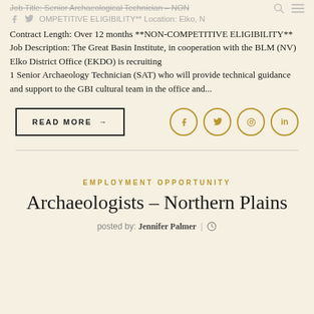Job Title: Senior Archaeological Technician – NON-COMPETITIVE ELIGIBILITY** Location: Elko, NV Contract Length: Over 12 months **NON-COMPETITIVE ELIGIBILITY** Job Description: The Great Basin Institute, in cooperation with the BLM (NV) Elko District Office (EKDO) is recruiting 1 Senior Archaeology Technician (SAT) who will provide technical guidance and support to the GBI cultural team in the office and...
READ MORE →
EMPLOYMENT OPPORTUNITY
Archaeologists – Northern Plains
posted by: Jennifer Palmer | ⊙